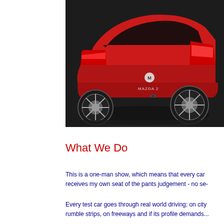[Figure (photo): Rear three-quarter view of a red Mazda 2 hatchback parked on a dark surface, showing the rear badge, tail lights, and alloy wheels.]
What We Do
This is a one-man show, which means that every car receives my own seat of the pants judgement - no se-
Every test car goes through real world driving; on city rumble strips, on freeways and if its profile demands...